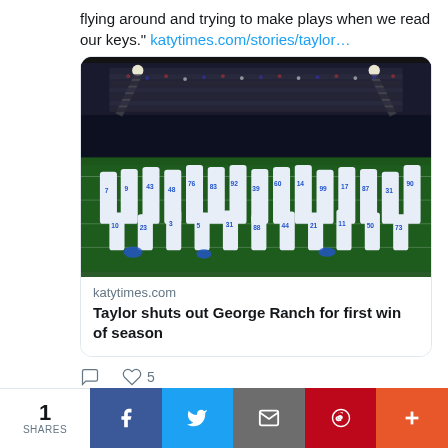flying around and trying to make plays when we read our keys." katytimes.com/stories/taylor…
[Figure (photo): Football team photo after game, players in white and blue uniforms on field at night stadium]
katytimes.com
Taylor shuts out George Ranch for first win of season
♡ 5
The Katy Times @KatyTimes · Aug 31
Katy ISD Week Two Previews: Last week of
1 SHARES | f | Twitter | Email | Pinterest | +